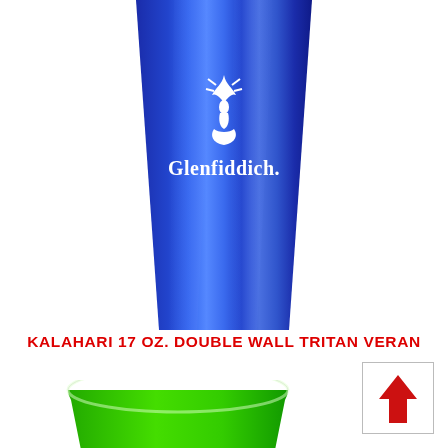[Figure (photo): Blue metallic tumbler cup with Glenfiddich branding (stag logo and brand name in white) on the body. Top portion of the cup is cropped.]
KALAHARI 17 OZ. DOUBLE WALL TRITAN VERAN
[Figure (photo): Green plastic solo-style cup viewed from above, showing the white inner rim and green exterior, partially cropped at bottom.]
[Figure (other): White box with a red upward-pointing arrow icon inside, bordered by a thin gray outline. Located in the bottom-right corner.]